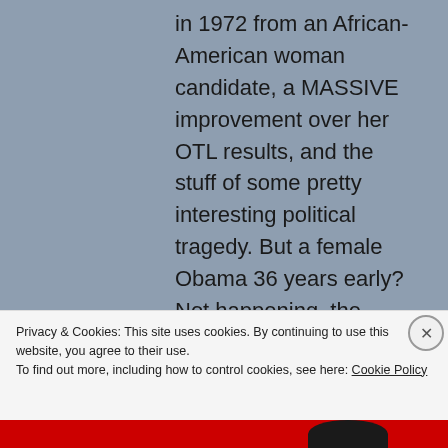in 1972 from an African-American woman candidate, a MASSIVE improvement over her OTL results, and the stuff of some pretty interesting political tragedy. But a female Obama 36 years early? Not happening, the demographics and the
Privacy & Cookies: This site uses cookies. By continuing to use this website, you agree to their use.
To find out more, including how to control cookies, see here: Cookie Policy
Close and accept